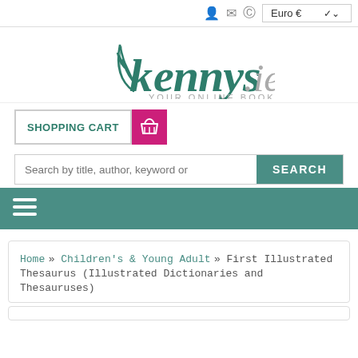Euro € [currency selector] [user icon] [mail icon] [euro icon]
[Figure (logo): Kennys.ie - YOUR ONLINE BOOKSHOP logo with green stylized K and feather design]
SHOPPING CART [shopping cart icon]
Search by title, author, keyword or   SEARCH
[Figure (screenshot): Teal navigation bar with hamburger menu icon]
Home » Children's & Young Adult » First Illustrated Thesaurus (Illustrated Dictionaries and Thesauruses)